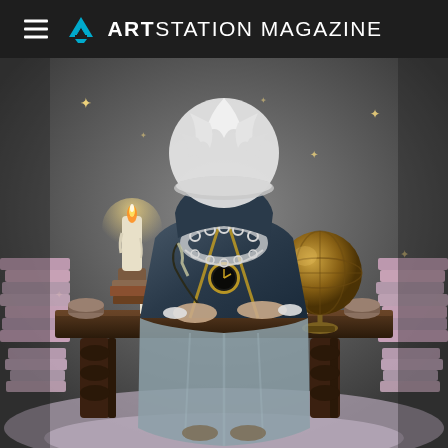ARTSTATION MAGAZINE
[Figure (illustration): A digital fantasy illustration of a mysterious robed figure with no visible face, wearing a large white feathered hat and ornate jewelry/necklace, seated at a dark wooden desk writing on paper. A candle with melted wax and stacked books sits to the left, a golden globe/armillary sphere on the right. Stacks of pink/lavender books flank both sides. The background is a dark grey atmospheric setting with small sparkles of light.]